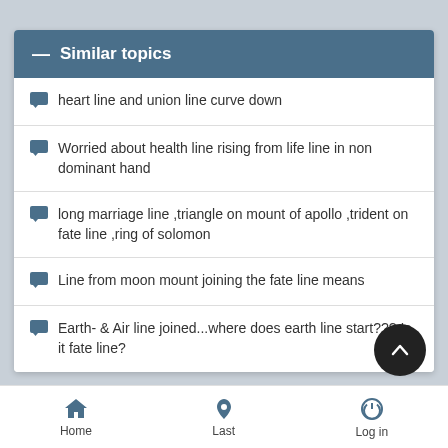Similar topics
heart line and union line curve down
Worried about health line rising from life line in non dominant hand
long marriage line ,triangle on mount of apollo ,trident on fate line ,ring of solomon
Line from moon mount joining the fate line means
Earth- & Air line joined...where does earth line start??? Is it fate line?
Home   Last   Log in